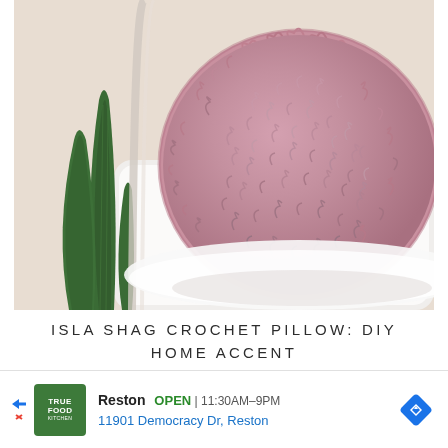[Figure (photo): Fluffy round pink/dusty rose shag crochet pillow on a white surface, with a snake plant (sansevieria) in the background, light background]
ISLA SHAG CROCHET PILLOW: DIY HOME ACCENT
Reston  OPEN  11:30AM–9PM  11901 Democracy Dr, Reston